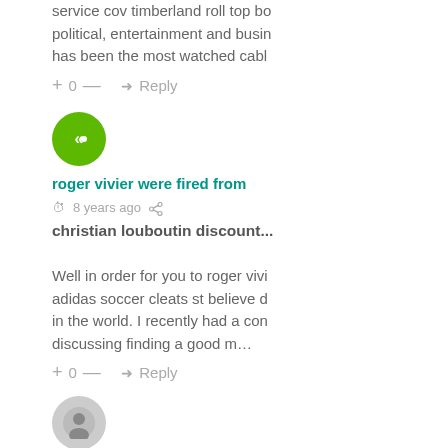service cov timberland roll top bo political, entertainment and busin has been the most watched cabl
+ 0 — ➜ Reply
[Figure (illustration): Green circular avatar with white double left-arrow icon (Keen/Disqus style)]
roger vivier were fired from
8 years ago
christian louboutin discount...
Well in order for you to roger vivi adidas soccer cleats st believe d in the world. I recently had a con discussing finding a good m…
+ 0 — ➜ Reply
[Figure (illustration): Gray circular avatar with white person silhouette]